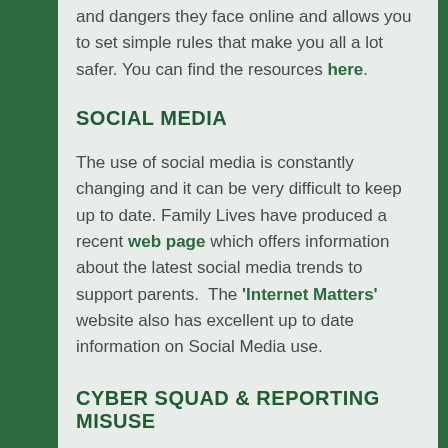and dangers they face online and allows you to set simple rules that make you all a lot safer. You can find the resources here.
SOCIAL MEDIA
The use of social media is constantly changing and it can be very difficult to keep up to date. Family Lives have produced a recent web page which offers information about the latest social media trends to support parents. The 'Internet Matters' website also has excellent up to date information on Social Media use.
CYBER SQUAD & REPORTING MISUSE
At West Park Academy we have the facility for